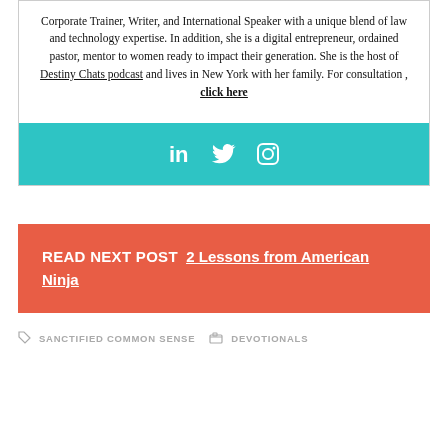Corporate Trainer, Writer, and International Speaker with a unique blend of law and technology expertise. In addition, she is a digital entrepreneur, ordained pastor, mentor to women ready to impact their generation. She is the host of Destiny Chats podcast and lives in New York with her family. For consultation , click here
[Figure (infographic): Teal/cyan social media bar with LinkedIn, Twitter, and Instagram icons in white]
READ NEXT POST  2 Lessons from American Ninja
SANCTIFIED COMMON SENSE   DEVOTIONALS